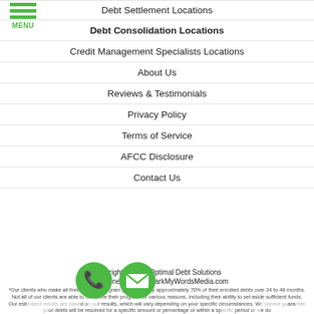Debt Settlement Locations
Debt Consolidation Locations
Credit Management Specialists Locations
About Us
Reviews & Testimonials
Privacy Policy
Terms of Service
AFCC Disclosure
Contact Us
Copyright © 2022 Optimal Debt Solutions
Lead Generation by MarkMyWordsMedia.com
*Our clients who make all their monthly program payments pay approximately 70% of their enrolled debts over 24 to 48 months. Not all of our clients are able to complete their program for various reasons, including their ability to set aside sufficient funds. Our esti... base... r results, which will vary depending on your specific circumstances. W... ara... ur debts will be resolved for a specific amount or percentage or within a sp... period o... e do...